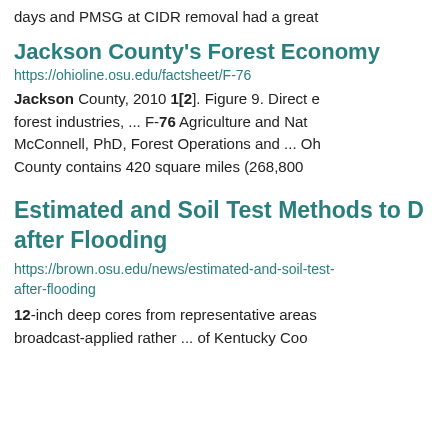days and PMSG at CIDR removal had a great
Jackson County's Forest Economy
https://ohioline.osu.edu/factsheet/F-76
Jackson County, 2010 1[2]. Figure 9. Direct e forest industries, ... F-76 Agriculture and Nat McConnell, PhD, Forest Operations and ... Oh County contains 420 square miles (268,800
Estimated and Soil Test Methods to D after Flooding
https://brown.osu.edu/news/estimated-and-soil-test after-flooding
12-inch deep cores from representative areas
broadcast-applied rather ... of Kentucky Coo